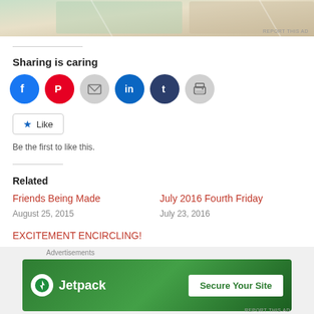[Figure (photo): Partial banner image at top of page]
Sharing is caring
[Figure (infographic): Social sharing icons: Facebook, Pinterest, Email, LinkedIn, Tumblr, Print]
Like
Be the first to like this.
Related
Friends Being Made
August 25, 2015
July 2016 Fourth Friday
July 23, 2016
EXCITEMENT ENCIRCLING!
September 9, 2015
[Figure (infographic): Jetpack advertisement banner: Secure Your Site]